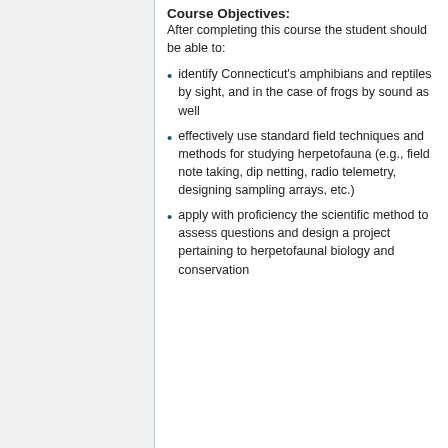Course Objectives:
After completing this course the student should be able to:
identify Connecticut's amphibians and reptiles by sight, and in the case of frogs by sound as well
effectively use standard field techniques and methods for studying herpetofauna (e.g., field note taking, dip netting, radio telemetry, designing sampling arrays, etc.)
apply with proficiency the scientific method to assess questions and design a project pertaining to herpetofaunal biology and conservation